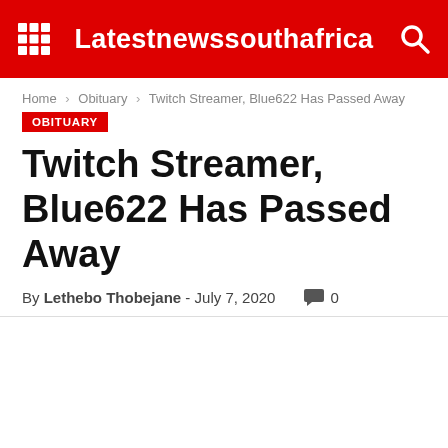Latestnewssouthafrica
Home > Obituary > Twitch Streamer, Blue622 Has Passed Away
OBITUARY
Twitch Streamer, Blue622 Has Passed Away
By Lethebo Thobejane - July 7, 2020  0